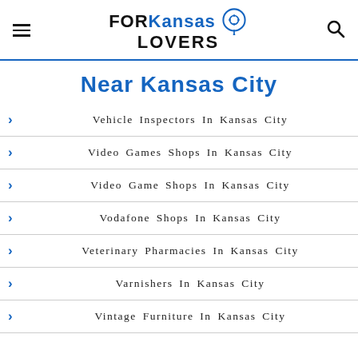[Figure (logo): FOR Kansas Lovers logo with location pin icon]
Near Kansas City
Vehicle Inspectors In Kansas City
Video Games Shops In Kansas City
Video Game Shops In Kansas City
Vodafone Shops In Kansas City
Veterinary Pharmacies In Kansas City
Varnishers In Kansas City
Vintage Furniture In Kansas City